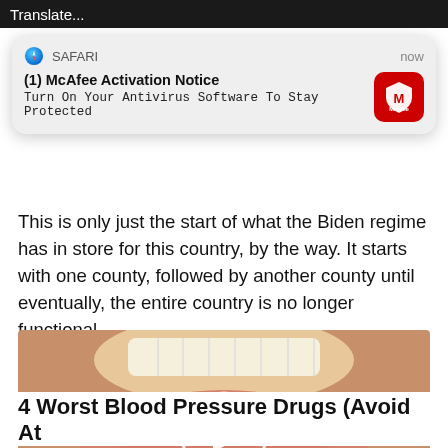[Figure (screenshot): Mobile browser notification popup from Safari showing McAfee Activation Notice: 'Turn On Your Antivirus Software To Stay Protected' with McAfee red icon, overlaid on a webpage]
This is only just the start of what the Biden regime has in store for this country, by the way. It starts with one county, followed by another county until eventually, the entire country is no longer functional.
[Figure (photo): Close-up photo of an open mouth with tongue extended, a small teal/blue pill on the tongue, with a circular play button overlay indicating a video]
4 Worst Blood Pressure Drugs (Avoid At